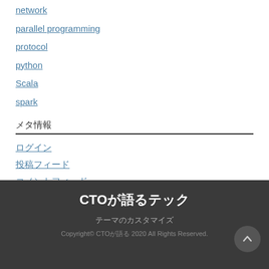network
parallel programming
protocol
python
Scala
spark
メタ情報
ログイン
投稿フィード
コメントフィード
WordPress.org
CTOが語るテック
テーマのカスタマイズ
Copyright© CTOが語る 2020 All Rights Reserved.